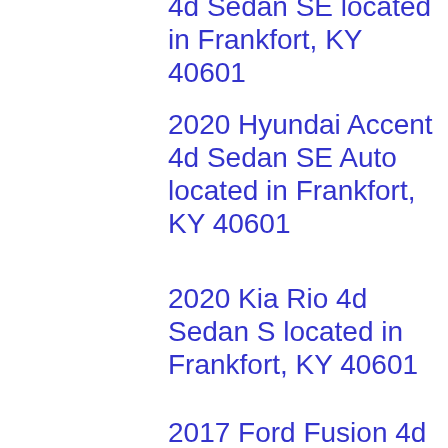4d Sedan SE located in Frankfort, KY 40601
2020 Hyundai Accent 4d Sedan SE Auto located in Frankfort, KY 40601
2020 Kia Rio 4d Sedan S located in Frankfort, KY 40601
2017 Ford Fusion 4d Sedan SE AWD located in Frankfort, KY 40601
2017 Hyundai Sonata Hybrid 4d Sedan SE located in Frankfort, KY 40601
2017 Buick Encore 4d SUV FWD Premium located in Frankfort, KY 40601
2019 Nissan Versa 4d Sedan SV located in Frankfort, KY 40601